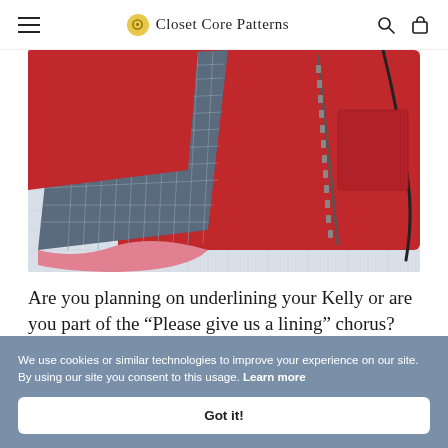Closet Core Patterns
[Figure (photo): A red jacket opened to reveal a dark plaid flannel lining, laid flat on a white cutting mat. A black zipper and drawstring cord are visible.]
Are you planning on underlining your Kelly or are you part of the “Please give us a lining” chorus?
We use cookies or similar technologies to improve your experience on our site. By using our site you consent to this usage. Learn more
Got it!